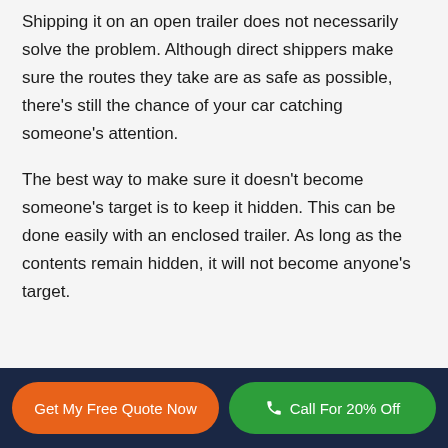Shipping it on an open trailer does not necessarily solve the problem. Although direct shippers make sure the routes they take are as safe as possible, there's still the chance of your car catching someone's attention.
The best way to make sure it doesn't become someone's target is to keep it hidden. This can be done easily with an enclosed trailer. As long as the contents remain hidden, it will not become anyone's target.
Get My Free Quote Now | Call For 20% Off